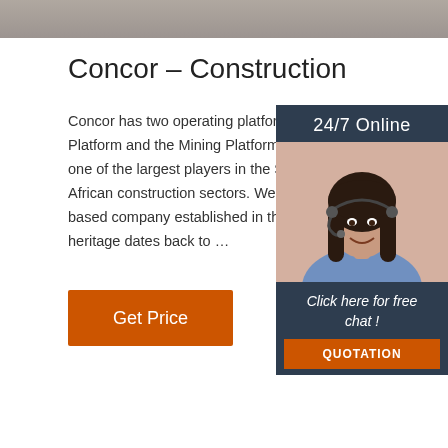[Figure (photo): Grey textured background image at top of page]
Concor – Construction
Concor has two operating platforms, the Construction Platform and the Mining Platform. Concor is recognised as one of the largest players in the South and sub-African construction sectors. We are a South African based company established in the Western Cape, with a heritage dates back to …
[Figure (illustration): 24/7 Online chat widget with photo of woman wearing headset and buttons for free chat and quotation]
Get Price